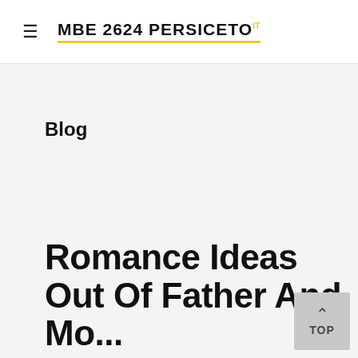MBE 2624 PERSICETO IT
Blog
Romance Ideas Out Of Father And Mother? Surprise...